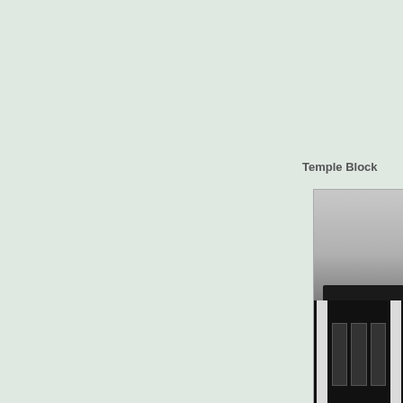Temple Block
[Figure (photo): A black and white photograph showing the upper portion of a building with a flat roof overhang and tall vertical windows or columns, partially cropped at the right edge of the page.]